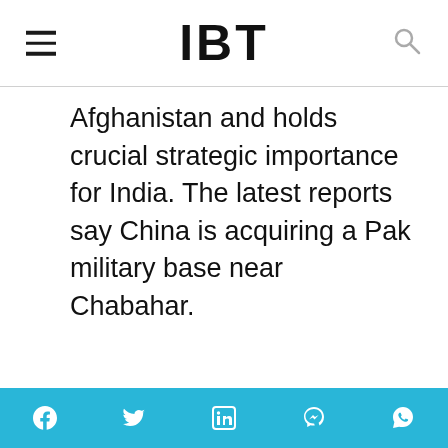IBT
Afghanistan and holds crucial strategic importance for India. The latest reports say China is acquiring a Pak military base near Chabahar.
[Figure (advertisement): Green advertisement banner for Latest Sports News - Sports Events Updates, with whistle and podium icons, and a partial photo on the left side.]
Social sharing bar with Facebook, Twitter, LinkedIn, Messenger, and WhatsApp icons